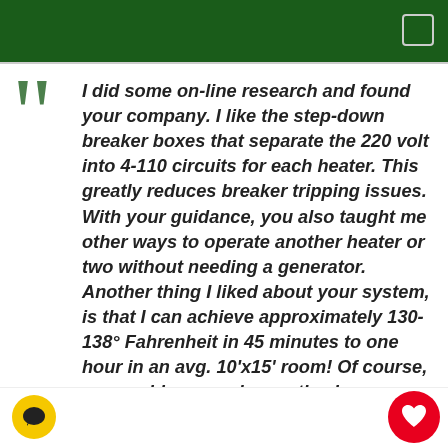I did some on-line research and found your company. I like the step-down breaker boxes that separate the 220 volt into 4-110 circuits for each heater. This greatly reduces breaker tripping issues. With your guidance, you also taught me other ways to operate another heater or two without needing a generator. Another thing I liked about your system, is that I can achieve approximately 130-138° Fahrenheit in 45 minutes to one hour in an avg. 10'x15' room! Of course, your guidance and expertise is paramount in being successful. Also, your advice on the use of the right type of fans is critical. Heating the room to 122°F and walking away is not all there is to bed bug eradication! You taught me much more!